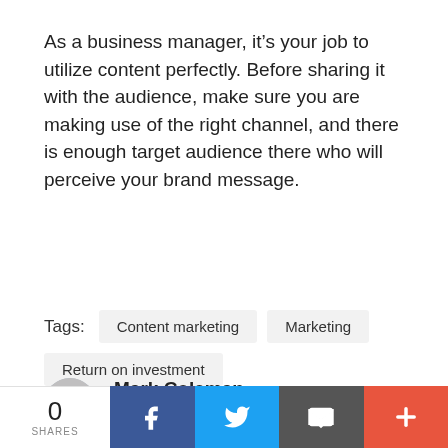As a business manager, it's your job to utilize content perfectly. Before sharing it with the audience, make sure you are making use of the right channel, and there is enough target audience there who will perceive your brand message.
Tags: Content marketing   Marketing   Return on investment
Mark Coleman
Mark Coleman is the editor at MarkupTrend. He is
0 SHARES  [Facebook] [Twitter] [Email] [+]